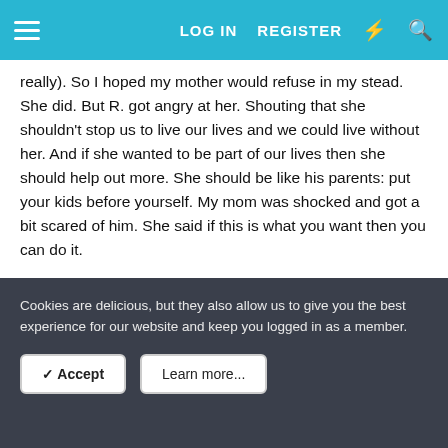LOG IN  REGISTER
really). So I hoped my mother would refuse in my stead. She did. But R. got angry at her. Shouting that she shouldn't stop us to live our lives and we could live without her. And if she wanted to be part of our lives then she should help out more. She should be like his parents: put your kids before yourself. My mom was shocked and got a bit scared of him. She said if this is what you want then you can do it.
I didn't wanted it. I was doubting my every step. He and his parents had me feeling so loved. His parents gave my gifts and I felt guilty to just say: yeah the relationship is over, bye. I decided to give it more time. R. wanted my decision about the house. I shared my doubts with him and he got angry. He smashed his hand against the wall, right next to my head. He
Cookies are delicious, but they also allow us to give you the best experience for our website and keep you logged in as a member.